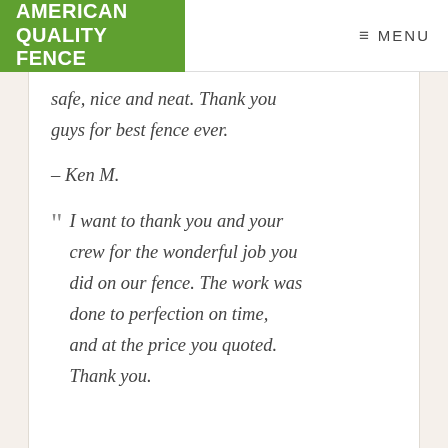AMERICAN QUALITY FENCE   ≡ MENU
safe, nice and neat. Thank you guys for best fence ever.
– Ken M.
" I want to thank you and your crew for the wonderful job you did on our fence. The work was done to perfection on time, and at the price you quoted. Thank you.